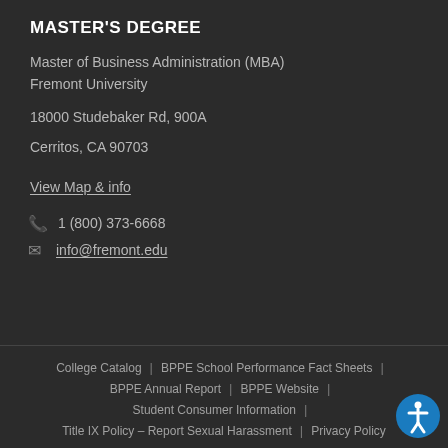MASTER'S DEGREE
Master of Business Administration (MBA)
Fremont University
18000 Studebaker Rd, 900A
Cerritos, CA 90703
View Map & info
1 (800) 373-6668
info@fremont.edu
College Catalog | BPPE School Performance Fact Sheets | BPPE Annual Report | BPPE Website | Student Consumer Information | Title IX Policy – Report Sexual Harassment | Privacy Policy